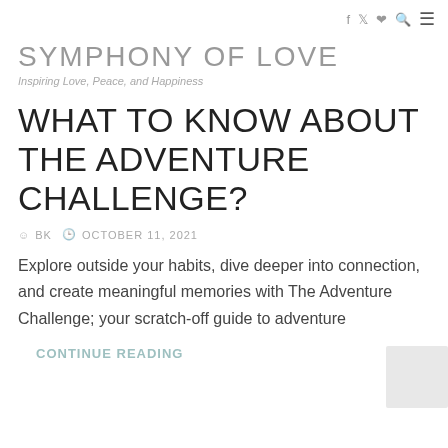f  ❤  p  🔍  ≡
SYMPHONY OF LOVE
Inspiring Love, Peace, and Happiness
WHAT TO KNOW ABOUT THE ADVENTURE CHALLENGE?
BK   OCTOBER 11, 2021
Explore outside your habits, dive deeper into connection, and create meaningful memories with The Adventure Challenge; your scratch-off guide to adventure
CONTINUE READING